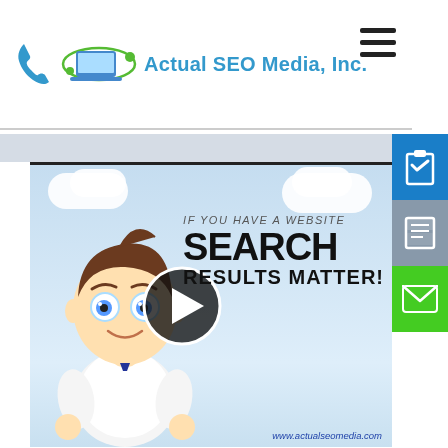[Figure (logo): Actual SEO Media, Inc. logo with phone icon, laptop with orbit graphic, and company name in blue text]
[Figure (screenshot): Website screenshot showing Actual SEO Media video thumbnail. Animated cartoon businessman character with text 'IF YOU HAVE A WEBSITE SEARCH RESULTS MATTER!' and a play button. URL www.actualseomedia.com shown at bottom right. Blue sidebar icons for clipboard checklist, form, and email on the right side.]